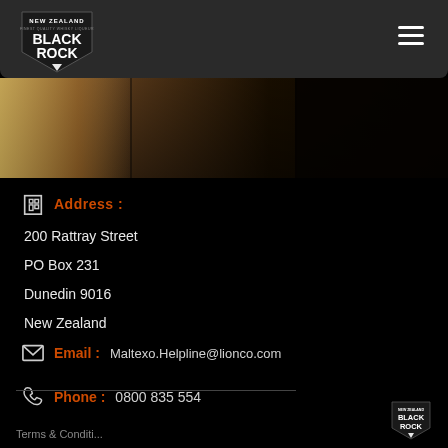[Figure (logo): New Zealand Black Rock logo — white text on black shield shape with tagline]
[Figure (photo): Dark warm-toned photo strip showing interior with curtains and panels]
Address :
200 Rattray Street
PO Box 231
Dunedin 9016
New Zealand
Email : Maltexo.Helpline@lionco.com
Phone : 0800 835 554
[Figure (logo): New Zealand Black Rock small logo at bottom right]
Terms & Conditi...